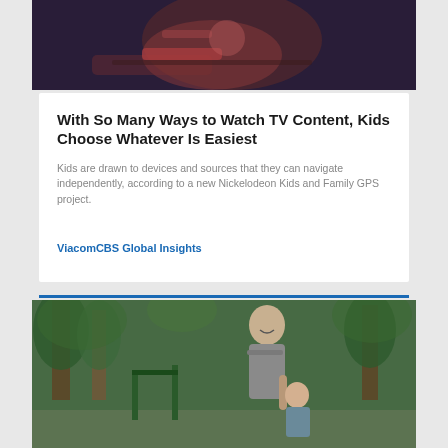[Figure (photo): Close-up photo of a child lying down, appearing to be watching something, dark ambient background with purple/blue tones]
With So Many Ways to Watch TV Content, Kids Choose Whatever Is Easiest
Kids are drawn to devices and sources that they can navigate independently, according to a new Nickelodeon Kids and Family GPS project.
ViacomCBS Global Insights
[Figure (photo): Outdoor photo of a man and a young child walking together in a park or forested area, man is smiling and holding child's hand]